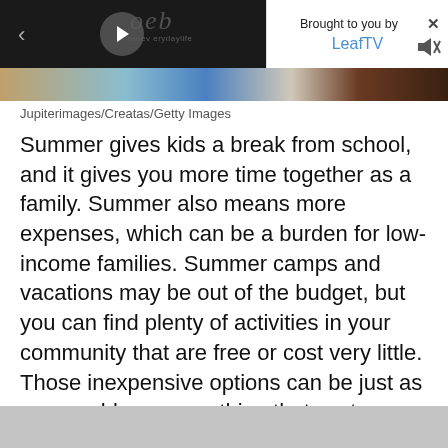[Figure (photo): Screenshot of a webpage showing a video player area with a dark overlay, play button, back arrow, and an embedded 'Brought to you by LeafTV' banner in the top right corner. Below the video overlay is a partial image of what appears to be outdoor/beach items including a blue jacket and brown bags.]
Jupiterimages/Creatas/Getty Images
Summer gives kids a break from school, and it gives you more time together as a family. Summer also means more expenses, which can be a burden for low-income families. Summer camps and vacations may be out of the budget, but you can find plenty of activities in your community that are free or cost very little. Those inexpensive options can be just as memorable as something that costs exponentially more.